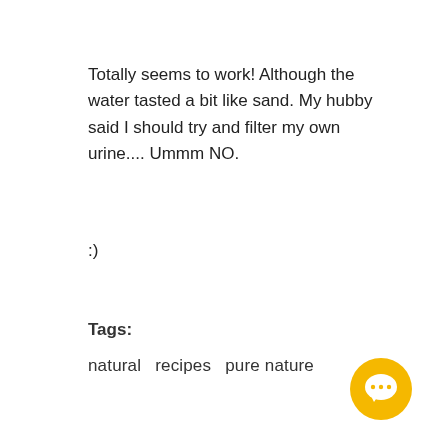Totally seems to work! Although the water tasted a bit like sand. My hubby said I should try and filter my own urine.... Ummm NO.
:)
Tags:
natural   recipes   pure nature
[Figure (illustration): Yellow circular chat/message bubble icon in bottom right corner]